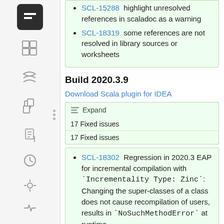SCL-15288  highlight unresolved references in scaladoc as a warning
SCL-18319  some references are not resolved in library sources or worksheets
Build 2020.3.9
Download Scala plugin for IDEA
Expand
17 Fixed issues
17 Fixed issues
SCL-18302  Regression in 2020.3 EAP for incremental compilation with `Incrementality Type: Zinc`: Changing the super-classes of a class does not cause recompilation of users, results in `NoSuchMethodError` at runtime
SCL-17360  MUnit support